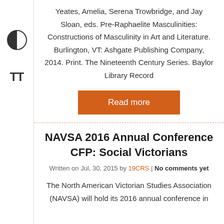Yeates, Amelia, Serena Trowbridge, and Jay Sloan, eds. Pre-Raphaelite Masculinities: Constructions of Masculinity in Art and Literature. Burlington, VT: Ashgate Publishing Company, 2014. Print. The Nineteenth Century Series. Baylor Library Record
Read more
NAVSA 2016 Annual Conference CFP: Social Victorians
Written on Jul, 30, 2015 by 19CRS | No comments yet
The North American Victorian Studies Association (NAVSA) will hold its 2016 annual conference in